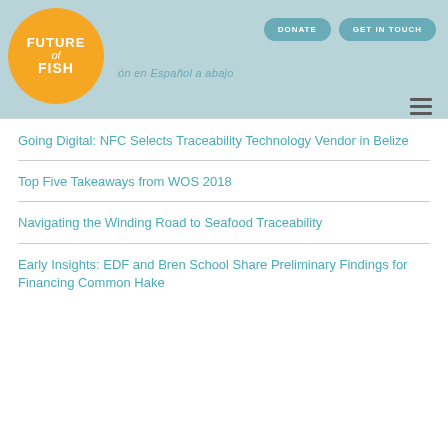[Figure (logo): Future of Fish logo — yellow circle with white text FUTURE of FISH]
DONATE   GET IN TOUCH
ón en Español a abajo
Going Digital: NFC Selects Traceability Technology Vendor in Belize
Top Five Takeaways from WOS 2018
Navigating the Winding Road to Seafood Traceability
Early Insights: EDF and Bren School Share Preliminary Findings for Financing Common Hake